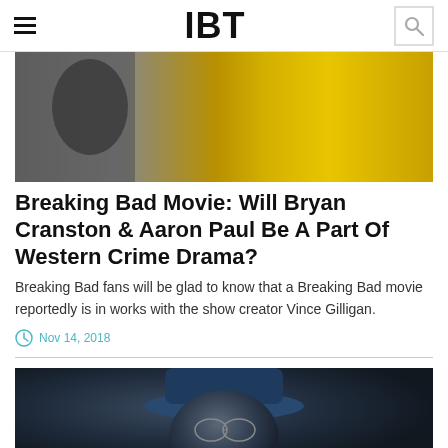IBT
[Figure (photo): A blurry image with a dark figure on the left and bright yellow fabric/clothing on the right]
Breaking Bad Movie: Will Bryan Cranston & Aaron Paul Be A Part Of Western Crime Drama?
Breaking Bad fans will be glad to know that a Breaking Bad movie reportedly is in works with the show creator Vince Gilligan.
Nov 14, 2018
[Figure (photo): A person wearing a blue hat, viewed from below, dark background]